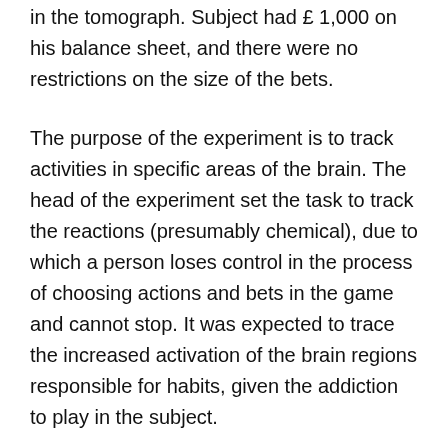in the tomograph. Subject had £ 1,000 on his balance sheet, and there were no restrictions on the size of the bets.
The purpose of the experiment is to track activities in specific areas of the brain. The head of the experiment set the task to track the reactions (presumably chemical), due to which a person loses control in the process of choosing actions and bets in the game and cannot stop. It was expected to trace the increased activation of the brain regions responsible for habits, given the addiction to play in the subject.